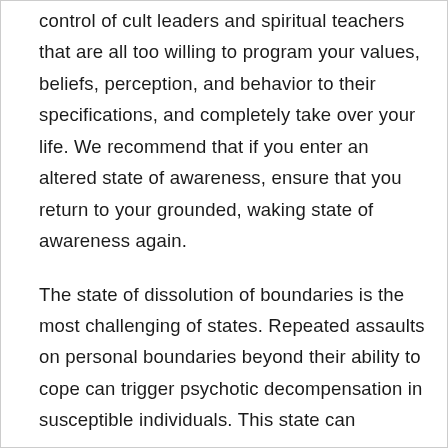control of cult leaders and spiritual teachers that are all too willing to program your values, beliefs, perception, and behavior to their specifications, and completely take over your life. We recommend that if you enter an altered state of awareness, ensure that you return to your grounded, waking state of awareness again.
The state of dissolution of boundaries is the most challenging of states. Repeated assaults on personal boundaries beyond their ability to cope can trigger psychotic decompensation in susceptible individuals. This state can